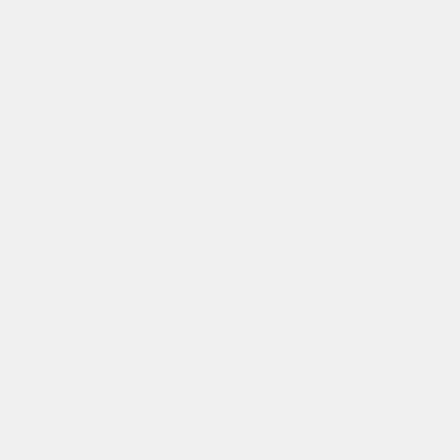In the following example we accept as the acquisition's <source lang="bash" enclose=none>DOY=...</source> and <source lang="bash" enclose=none>SEA=...</source>. Hence, we get the Earth-Sun distance <source
In the following example we accept as the acquisition's <source lang="bash" enclose=none>DOY=...</source> and <source lang="bash" enclose=none>SEA=...</source>. Hence, we get the Earth-Sun distance <source